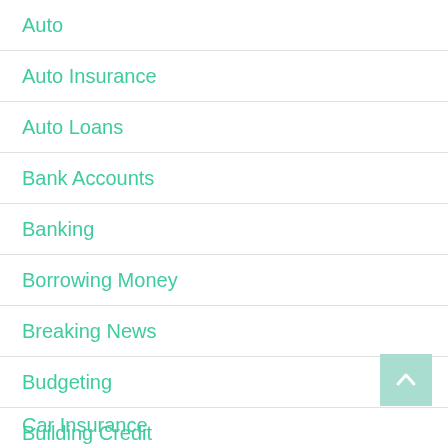Auto
Auto Insurance
Auto Loans
Bank Accounts
Banking
Borrowing Money
Breaking News
Budgeting
Building Credit
Building Wealth
Business
Business Law
Car Insurance